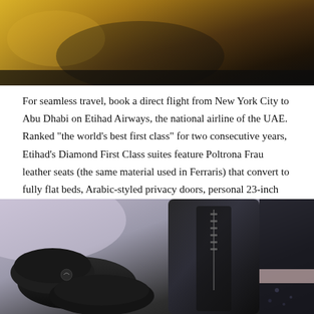[Figure (photo): Top portion of a photo showing airline first class interior with golden/amber tones, partial view of seats or cabin]
For seamless travel, book a direct flight from New York City to Abu Dhabi on Etihad Airways, the national airline of the UAE. Ranked “the world’s best first class” for two consecutive years, Etihad’s Diamond First Class suites feature Poltrona Frau leather seats (the same material used in Ferraris) that convert to fully flat beds, Arabic-styled privacy doors, personal 23-inch entertainment screens, in-seat USB ports and spacious changing rooms.
[Figure (photo): Photo of black luxury travel accessories including slippers and what appears to be a jacket or amenity kit, on a light grey/lavender background]